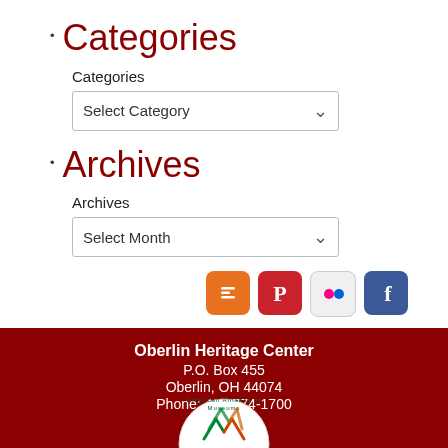Categories
Categories
Select Category (dropdown)
Archives
Archives
Select Month (dropdown)
[Figure (other): Social media icons: Blogger, Pinterest, Flickr, Facebook]
Oberlin Heritage Center
P.O. Box 455
Oberlin, OH 44074
Phone: 440-774-1700
[Figure (logo): American Alliance of Museums circular logo]